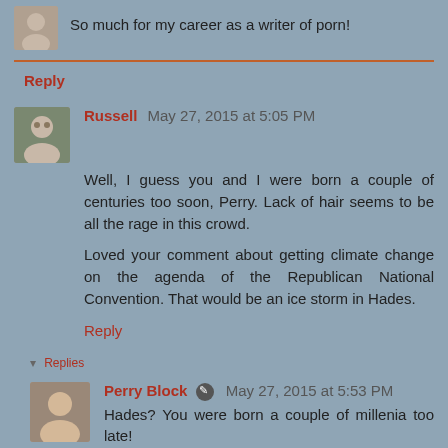So much for my career as a writer of porn!
Reply
Russell May 27, 2015 at 5:05 PM
Well, I guess you and I were born a couple of centuries too soon, Perry. Lack of hair seems to be all the rage in this crowd.

Loved your comment about getting climate change on the agenda of the Republican National Convention. That would be an ice storm in Hades.
Reply
Replies
Perry Block May 27, 2015 at 5:53 PM
Hades? You were born a couple of millenia too late!